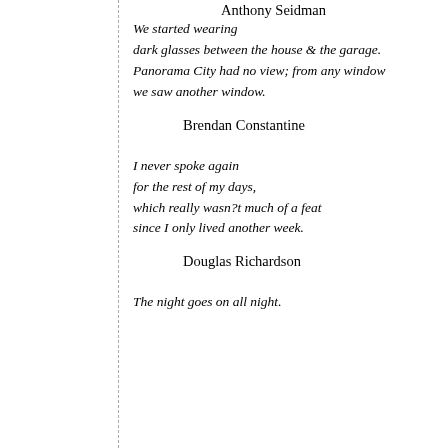Anthony Seidman
We started wearing
dark glasses between the house & the garage.
Panorama City had no view; from any window
we saw another window.
Brendan Constantine
I never spoke again
for the rest of my days,
which really wasn?t much of a feat
since I only lived another week.
Douglas Richardson
The night goes on all night.